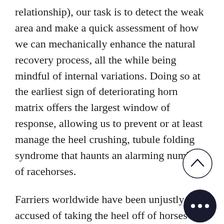relationship), our task is to detect the weak area and make a quick assessment of how we can mechanically enhance the natural recovery process, all the while being mindful of internal variations. Doing so at the earliest sign of deteriorating horn matrix offers the largest window of response, allowing us to prevent or at least manage the heel crushing, tubule folding syndrome that haunts an alarming number of racehorses.
Farriers worldwide have been unjustly accused of taking the heel off of horses with the long toe, heel appearance. This is not actually the case however, as other factors